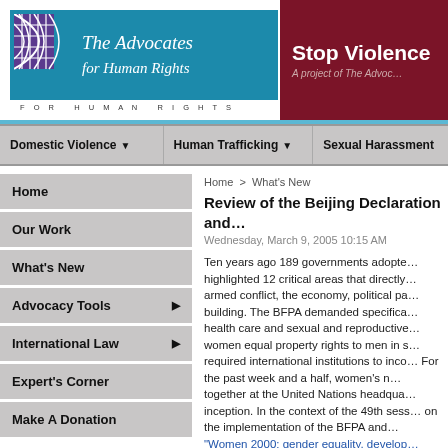[Figure (logo): The Advocates for Human Rights logo - teal background with globe/grid icon and italic serif text]
[Figure (logo): Stop Violence section header - dark red/maroon background with white bold text: 'Stop Violence' and subtitle 'A project of The Advoc...']
Domestic Violence | Human Trafficking | Sexual Harassment
Home
Our Work
What's New
Advocacy Tools
International Law
Expert's Corner
Make A Donation
Home > What's New
Review of the Beijing Declaration and...
Wednesday, March 9, 2005 10:15 AM
Ten years ago 189 governments adopted... highlighted 12 critical areas that directly... armed conflict, the economy, political pa... building. The BFPA demanded specifica... health care and sexual and reproductive... women equal property rights to men in s... required international institutions to inco... For the past week and a half, women's n... together at the United Nations headqua... inception. In the context of the 49th sess... on the implementation of the BFPA and... "Women 2000: gender equality, develop... and forward-looking strategies for th...